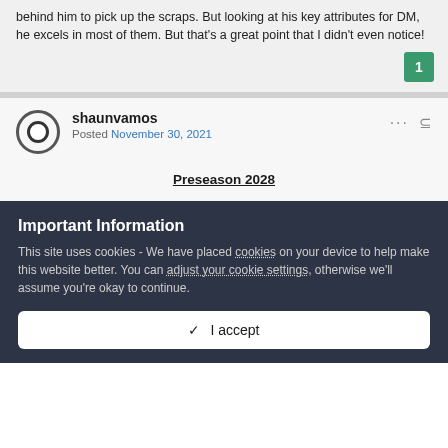behind him to pick up the scraps. But looking at his key attributes for DM, he excels in most of them. But that's a great point that I didn't even notice!
1
shaunvamos
Posted November 30, 2021
Preseason 2028
Important Information
This site uses cookies - We have placed cookies on your device to help make this website better. You can adjust your cookie settings, otherwise we'll assume you're okay to continue.
✓  I accept